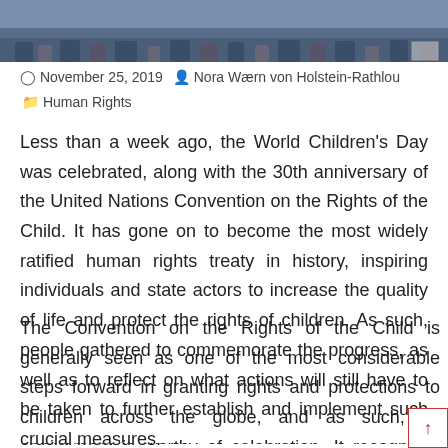[Figure (photo): Cropped photo strip showing people's feet and lower legs, likely a crowd at an outdoor event, blue background.]
November 25, 2019   Nora Wærn von Holstein-Rathlou
  Human Rights
Less than a week ago, the World Children's Day was celebrated, along with the 30th anniversary of the United Nations Convention on the Rights of the Child. It has gone on to become the most widely ratified human rights treaty in history, inspiring individuals and state actors to increase the quality of life and protect the rights of children. As such, people gathered to commemorate the progress, as well as to reflect on what actions will still have to be taken to further establish and implement such crucial measures.
The Convention on the Rights of the Child is generally seen as one of the most considerable steps forward in granting rights and protections to children across the globe, and as such, its anniversary is worthy of celebration. It recognizes the rights of